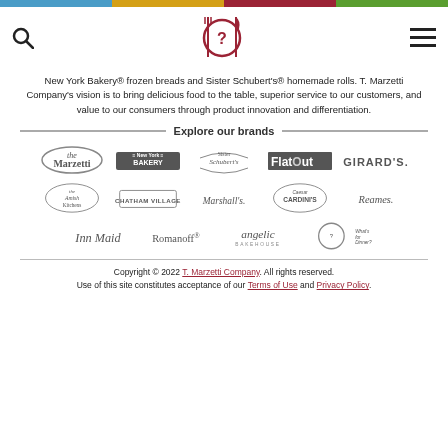[Figure (logo): Top navigation bar with search icon, circular fork-question mark-knife logo, and hamburger menu]
New York Bakery® frozen breads and Sister Schubert's® homemade rolls. T. Marzetti Company's vision is to bring delicious food to the table, superior service to our customers, and value to our consumers through product innovation and differentiation.
Explore our brands
[Figure (logo): Grid of brand logos: Marzetti, New York Bakery, Sister Schubert's, Flatout, Girard's, Amish Kitchens, Chatham Village, Marshall's, Caesar Cardini's, Reames, Inn Maid, Romanoff, Angelic Bakehouse, What's for Dinner]
Copyright © 2022 T. Marzetti Company. All rights reserved. Use of this site constitutes acceptance of our Terms of Use and Privacy Policy.